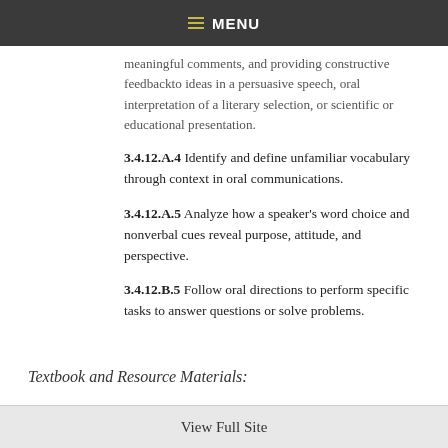MENU
meaningful comments, and providing constructive feedbackto ideas in a persuasive speech, oral interpretation of a literary selection, or scientific or educational presentation.
3.4.12.A.4 Identify and define unfamiliar vocabulary through context in oral communications.
3.4.12.A.5 Analyze how a speaker's word choice and nonverbal cues reveal purpose, attitude, and perspective.
3.4.12.B.5 Follow oral directions to perform specific tasks to answer questions or solve problems.
Textbook and Resource Materials:
View Full Site